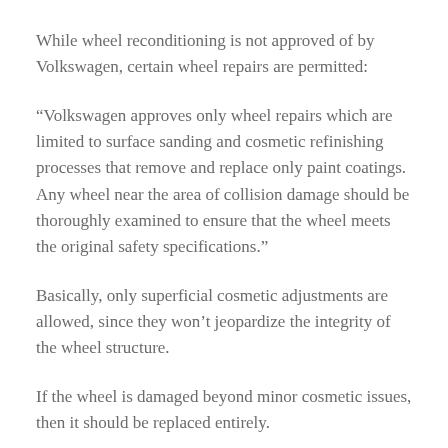While wheel reconditioning is not approved of by Volkswagen, certain wheel repairs are permitted:
“Volkswagen approves only wheel repairs which are limited to surface sanding and cosmetic refinishing processes that remove and replace only paint coatings. Any wheel near the area of collision damage should be thoroughly examined to ensure that the wheel meets the original safety specifications.”
Basically, only superficial cosmetic adjustments are allowed, since they won’t jeopardize the integrity of the wheel structure.
If the wheel is damaged beyond minor cosmetic issues, then it should be replaced entirely.